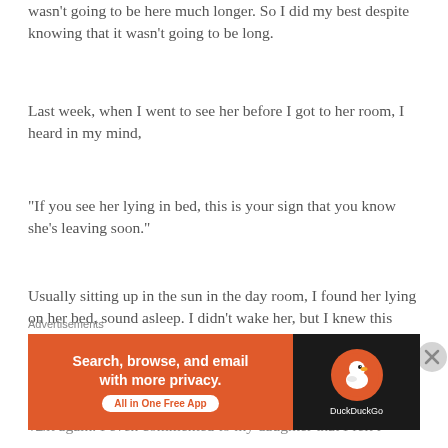wasn't going to be here much longer. So I did my best despite knowing that it wasn't going to be long.
Last week, when I went to see her before I got to her room, I heard in my mind,
“If you see her lying in bed, this is your sign that you know she’s leaving soon.”
Usually sitting up in the sun in the day room, I found her lying on her bed, sound asleep. I didn’t wake her, but I knew this would be the last time I saw her, so I quietly said goodbye.
I thought of her this past week, the day before I was to visit again. I even commented to my daughter that I felt l
Advertisements
[Figure (screenshot): DuckDuckGo advertisement banner: orange left panel with text 'Search, browse, and email with more privacy.' and 'All in One Free App' button; dark right panel with DuckDuckGo duck logo]